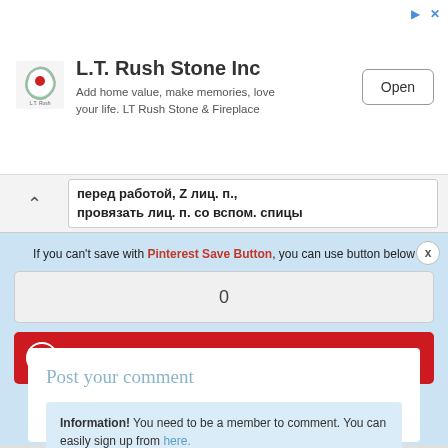[Figure (screenshot): L.T. Rush Stone Inc advertisement banner with logo, tagline 'Add home value, make memories, love your life. LT Rush Stone & Fireplace' and an Open button]
перед работой, Z лиц. п., провязать лиц. п. со вспом. спицы
If you can't save with Pinterest Save Button, you can use button below
0
Save
Post your comment
Information!  You need to be a member to comment. You can easily sign up from here.